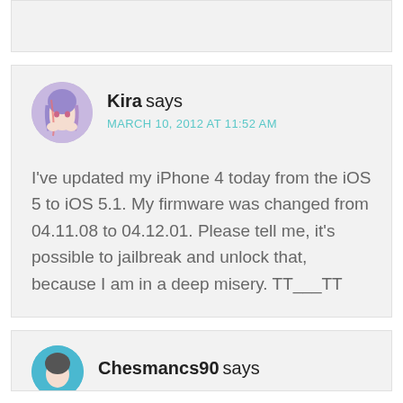Kira says
MARCH 10, 2012 AT 11:52 AM

I've updated my iPhone 4 today from the iOS 5 to iOS 5.1. My firmware was changed from 04.11.08 to 04.12.01. Please tell me, it's possible to jailbreak and unlock that, because I am in a deep misery. TT___TT
Chesmancs90 says